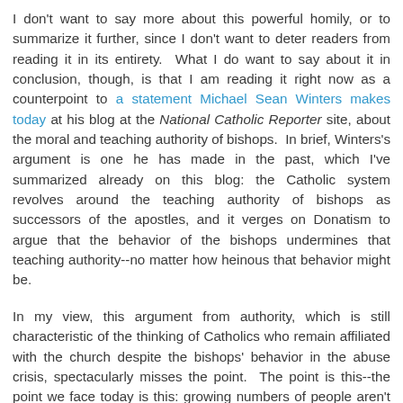I don't want to say more about this powerful homily, or to summarize it further, since I don't want to deter readers from reading it in its entirety.  What I do want to say about it in conclusion, though, is that I am reading it right now as a counterpoint to a statement Michael Sean Winters makes today at his blog at the National Catholic Reporter site, about the moral and teaching authority of bishops.  In brief, Winters's argument is one he has made in the past, which I've summarized already on this blog: the Catholic system revolves around the teaching authority of bishops as successors of the apostles, and it verges on Donatism to argue that the behavior of the bishops undermines that teaching authority--no matter how heinous that behavior might be.
In my view, this argument from authority, which is still characteristic of the thinking of Catholics who remain affiliated with the church despite the bishops' behavior in the abuse crisis, spectacularly misses the point.  The point is this--the point we face today is this: growing numbers of people aren't concerned any longer to salvage the bishops' teaching authority or their moral authority.